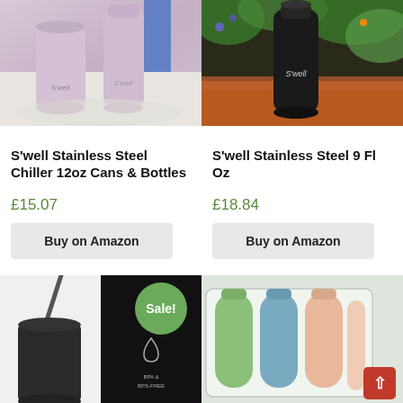[Figure (photo): S'well marble pattern stainless steel can chiller and bottle on white table outdoors]
[Figure (photo): S'well black stainless steel bottle outdoors with green foliage background]
S'well Stainless Steel Chiller 12oz Cans & Bottles
S'well Stainless Steel 9 Fl Oz
£15.07
£18.84
Buy on Amazon
Buy on Amazon
[Figure (photo): Black tumbler with straw and a dark thermos bottle with Sale! badge overlay]
[Figure (photo): Silicone travel bottles in green, blue, and peach colors in clear case]